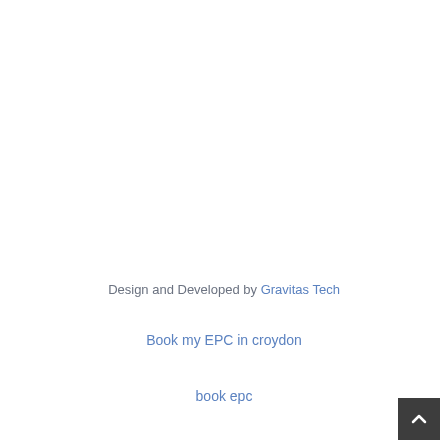Design and Developed by Gravitas Tech
Book my EPC in croydon
book epc